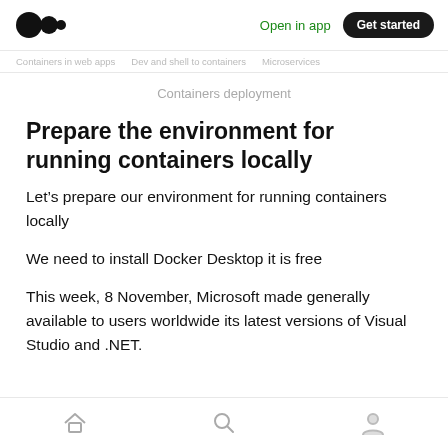Medium logo | Open in app | Get started
Containers deployment
Prepare the environment for running containers locally
Let's prepare our environment for running containers locally
We need to install Docker Desktop it is free
This week, 8 November, Microsoft made generally available to users worldwide its latest versions of Visual Studio and .NET.
Home | Search | Profile